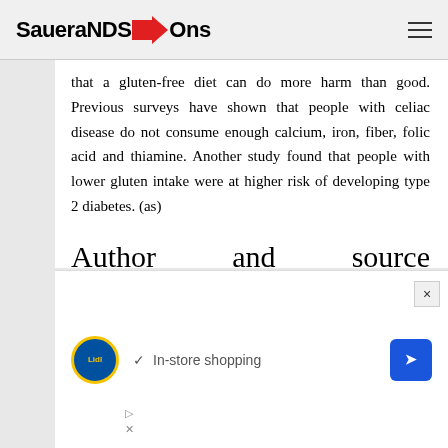SaueraNDS→Ons
that a gluten-free diet can do more harm than good. Previous surveys have shown that people with celiac disease do not consume enough calcium, iron, fiber, folic acid and thiamine. Another study found that people with lower gluten intake were at higher risk of developing type 2 diabetes. (as)
Author and source information
[Figure (other): Lidl advertisement banner showing Lidl logo, checkmark, 'In-store shopping' text, and a blue navigation/direction diamond icon, with close and ad controls buttons]